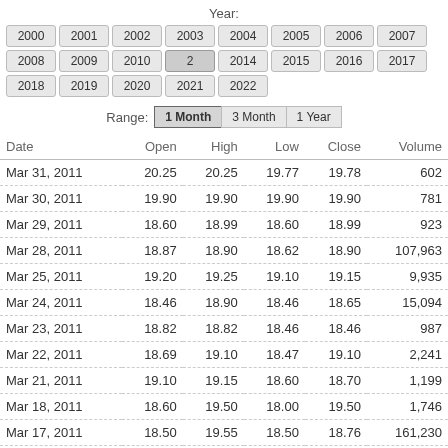Year:
2000 2001 2002 2003 2004 2005 2006 2007 2008 2009 2010 [2011] 2014 2015 2016 2017 2018 2019 2020 2021 2022
Range: 1 Month  3 Month  1 Year
| Date | Open | High | Low | Close | Volume |
| --- | --- | --- | --- | --- | --- |
| Mar 31, 2011 | 20.25 | 20.25 | 19.77 | 19.78 | 602 |
| Mar 30, 2011 | 19.90 | 19.90 | 19.90 | 19.90 | 781 |
| Mar 29, 2011 | 18.60 | 18.99 | 18.60 | 18.99 | 923 |
| Mar 28, 2011 | 18.87 | 18.90 | 18.62 | 18.90 | 107,963 |
| Mar 25, 2011 | 19.20 | 19.25 | 19.10 | 19.15 | 9,935 |
| Mar 24, 2011 | 18.46 | 18.90 | 18.46 | 18.65 | 15,094 |
| Mar 23, 2011 | 18.82 | 18.82 | 18.46 | 18.46 | 987 |
| Mar 22, 2011 | 18.69 | 19.10 | 18.47 | 19.10 | 2,241 |
| Mar 21, 2011 | 19.10 | 19.15 | 18.60 | 18.70 | 1,199 |
| Mar 18, 2011 | 18.60 | 19.50 | 18.00 | 19.50 | 1,746 |
| Mar 17, 2011 | 18.50 | 19.55 | 18.50 | 18.76 | 161,230 |
| Mar 16, 2011 | 17.75 | 20.95 | 17.25 | 18.00 | 1,071 |